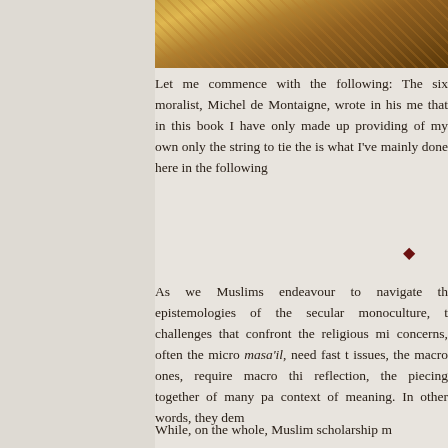[Figure (photo): Partial view of an illuminated manuscript or decorative artwork with warm golden-brown tones, partially cropped at top of page]
Let me commence with the following: The six moralist, Michel de Montaigne, wrote in his me that in this book I have only made up providing of my own only the string to tie the is what I've mainly done here in the following
[Figure (other): Small dark red diamond decorative ornament]
As we Muslims endeavour to navigate th epistemologies of the secular monoculture, t challenges that confront the religious mi concerns, often the micro masa'il, need fast t issues, the macro ones, require macro thi reflection, the piecing together of many pa context of meaning. In other words, they dem
While, on the whole, Muslim scholarship m